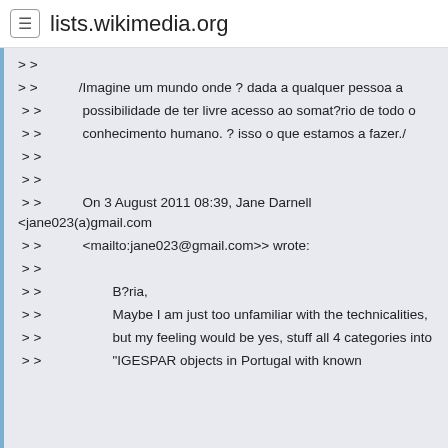lists.wikimedia.org
> >
> >            /Imagine um mundo onde ? dada a qualquer pessoa a
 > >            possibilidade de ter livre acesso ao somat?rio de todo o
 > >            conhecimento humano. ? isso o que estamos a fazer./
 > >
 > >
 > >            On 3 August 2011 08:39, Jane Darnell &lt;jane023(a)gmail.com
 > >            <mailto:jane023@gmail.com>> wrote:
 > >
 > >                    B?ria,
 > >                    Maybe I am just too unfamiliar with the technicalities,
 > >                    but my feeling would be yes, stuff all 4 categories into
 > >                    "IGESPAR objects in Portugal with known